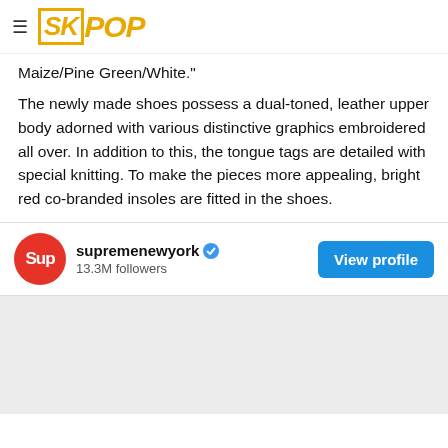SKPOP
Maize/Pine Green/White."
The newly made shoes possess a dual-toned, leather upper body adorned with various distinctive graphics embroidered all over. In addition to this, the tongue tags are detailed with special knitting. To make the pieces more appealing, bright red co-branded insoles are fitted in the shoes.
[Figure (other): Instagram profile card for supremenewyork with 13.3M followers, verified badge, and View profile button]
[Figure (screenshot): Embedded Instagram post block, gray background]